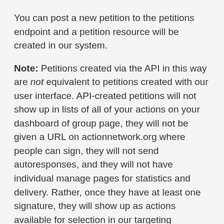You can post a new petition to the petitions endpoint and a petition resource will be created in our system.
Note: Petitions created via the API in this way are not equivalent to petitions created with our user interface. API-created petitions will not show up in lists of all of your actions on your dashboard of group page, they will not be given a URL on actionnetwork.org where people can sign, they will not send autoresponses, and they will not have individual manage pages for statistics and delivery. Rather, once they have at least one signature, they will show up as actions available for selection in our targeting interface, allowing you to select all people who have taken action on that petition for reports or email targeting.